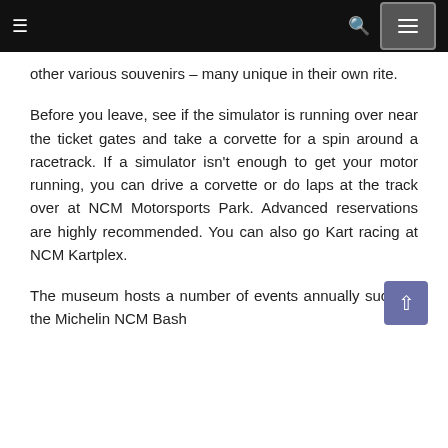≡   🔍   ☰
other various souvenirs – many unique in their own rite.
Before you leave, see if the simulator is running over near the ticket gates and take a corvette for a spin around a racetrack. If a simulator isn't enough to get your motor running, you can drive a corvette or do laps at the track over at NCM Motorsports Park. Advanced reservations are highly recommended. You can also go Kart racing at NCM Kartplex.
The museum hosts a number of events annually such as the Michelin NCM Bash